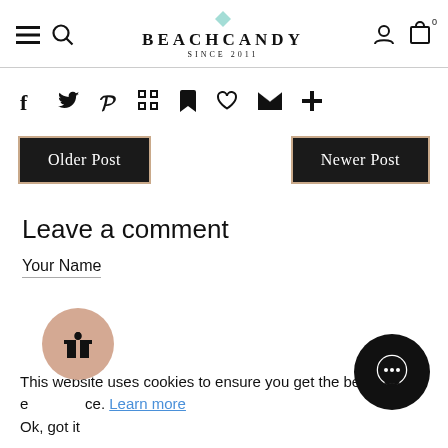BEACHCANDY SINCE 2011
[Figure (screenshot): Social share icons row: facebook, twitter, pinterest, grid, bookmark, heart, mail, plus]
Older Post
Newer Post
Leave a comment
Your Name
This website uses cookies to ensure you get the best experience. Learn more
Ok, got it